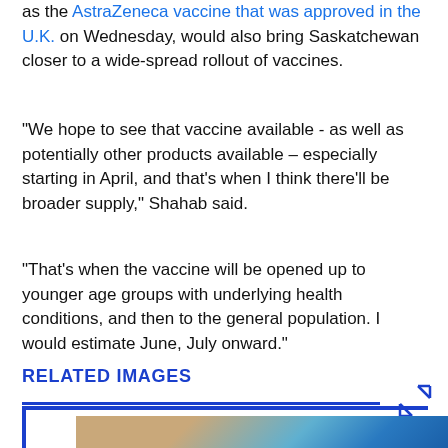as the AstraZeneca vaccine that was approved in the U.K. on Wednesday, would also bring Saskatchewan closer to a wide-spread rollout of vaccines.
"We hope to see that vaccine available - as well as potentially other products available – especially starting in April, and that's when I think there'll be broader supply," Shahab said.
"That's when the vaccine will be opened up to younger age groups with underlying health conditions, and then to the general population. I would estimate June, July onward."
RELATED IMAGES
[Figure (photo): A gloved hand (blue glove) handling a vaccine vial, partial view at bottom of page]